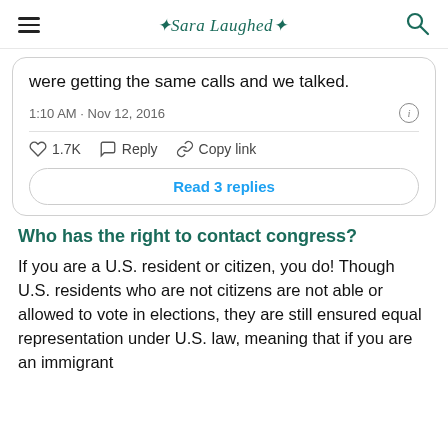Sara Laughed
were getting the same calls and we talked.
1:10 AM · Nov 12, 2016
1.7K   Reply   Copy link
Read 3 replies
Who has the right to contact congress?
If you are a U.S. resident or citizen, you do! Though U.S. residents who are not citizens are not able or allowed to vote in elections, they are still ensured equal representation under U.S. law, meaning that if you are an immigrant or a non-citizen, you still get to call...